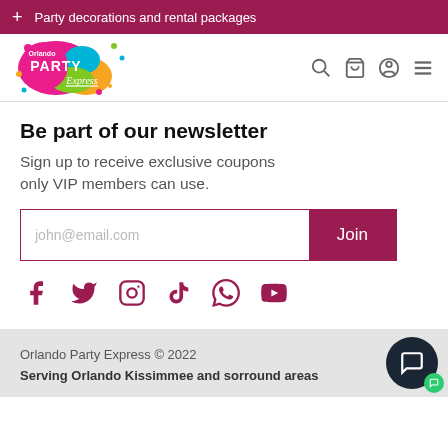Party decorations and rental packages
[Figure (logo): Orlando Party Express colorful logo with bubbles]
Be part of our newsletter
Sign up to receive exclusive coupons only VIP members can use.
john@email.com [input field] Join [button]
[Figure (infographic): Social media icons: Facebook, Twitter, Instagram, TikTok, WhatsApp, YouTube]
Orlando Party Express © 2022
Serving Orlando Kissimmee and sorround areas